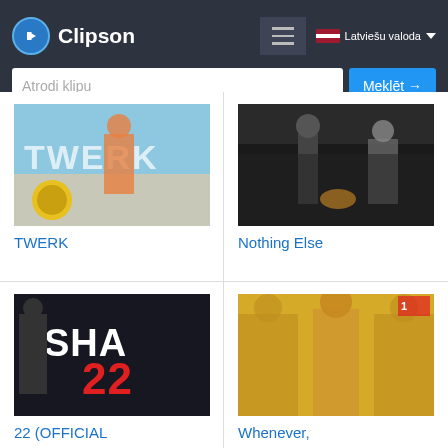Clipson — Latviešu valoda
Atrodi klipu
Meklēt →
[Figure (screenshot): Video thumbnail for TWERK music video, showing a man in colorful shirt with TWERK text overlay and yellow circle logo]
TWERK
[Figure (screenshot): Video thumbnail for Nothing Else music video, showing performers on stage]
Nothing Else
[Figure (screenshot): Video thumbnail showing SHA 22 text overlay in bold white and red letters]
22 (OFFICIAL
[Figure (screenshot): Video thumbnail for Whenever music video, showing woman performer with orange tones]
Whenever,
[Figure (screenshot): Video thumbnail partially visible at bottom left, showing a woman against gold background]
[Figure (screenshot): Video thumbnail partially visible at bottom right, blurred colorful stage scene]